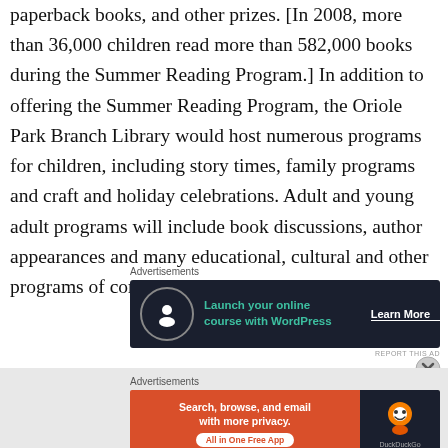paperback books, and other prizes. [In 2008, more than 36,000 children read more than 582,000 books during the Summer Reading Program.] In addition to offering the Summer Reading Program, the Oriole Park Branch Library would host numerous programs for children, including story times, family programs and craft and holiday celebrations. Adult and young adult programs will include book discussions, author appearances and many educational, cultural and other programs of community interest.
[Figure (other): Advertisement banner: Launch your online course with WordPress - Learn More button, dark navy background with teal text and circular logo icon]
[Figure (other): Advertisement banner: DuckDuckGo - Search, browse, and email with more privacy. All in One Free App. Orange and dark background with DuckDuckGo logo.]